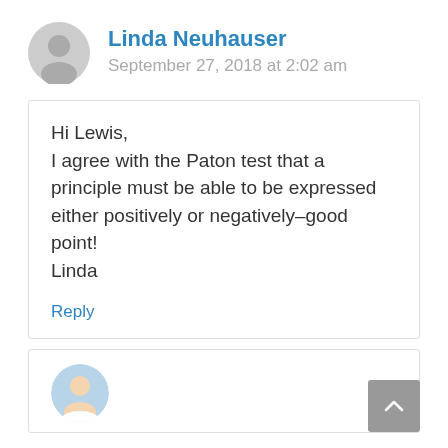Linda Neuhauser
September 27, 2018 at 2:02 am
Hi Lewis,
I agree with the Paton test that a principle must be able to be expressed either positively or negatively–good point!
Linda
Reply